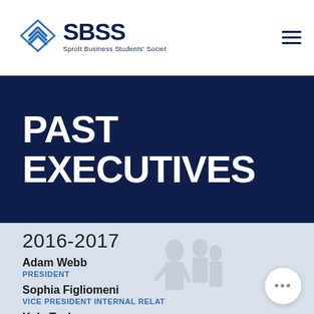SBSS — Sprott Business Students' Society
PAST EXECUTIVES
2016-2017
Adam Webb
PRESIDENT
Sophia Figliomeni
VICE PRESIDENT INTERNAL RELAT
Kyle Taylor